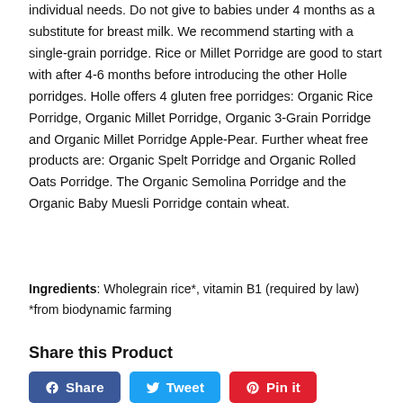individual needs. Do not give to babies under 4 months as a substitute for breast milk. We recommend starting with a single-grain porridge. Rice or Millet Porridge are good to start with after 4-6 months before introducing the other Holle porridges. Holle offers 4 gluten free porridges: Organic Rice Porridge, Organic Millet Porridge, Organic 3-Grain Porridge and Organic Millet Porridge Apple-Pear. Further wheat free products are: Organic Spelt Porridge and Organic Rolled Oats Porridge. The Organic Semolina Porridge and the Organic Baby Muesli Porridge contain wheat.
Ingredients: Wholegrain rice*, vitamin B1 (required by law)
*from biodynamic farming
Share this Product